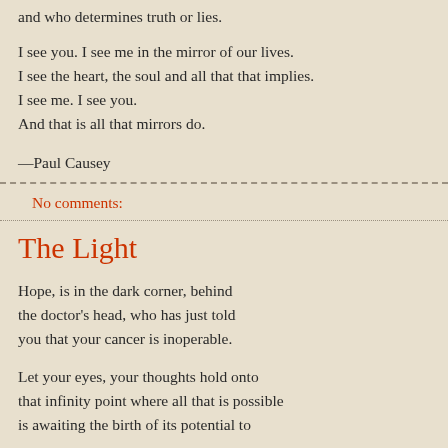and who determines truth or lies.
I see you. I see me in the mirror of our lives.
I see the heart, the soul and all that that implies.
I see me. I see you.
And that is all that mirrors do.
—Paul Causey
No comments:
The Light
Hope, is in the dark corner, behind the doctor's head, who has just told you that your cancer is inoperable.
Let your eyes, your thoughts hold onto that infinity point where all that is possible is awaiting the birth of its potential to